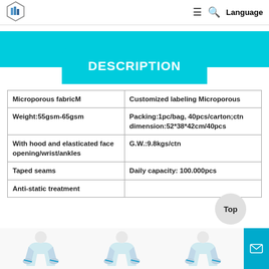Logo | ☰ 🔍 Language
DESCRIPTION
|  |  |
| --- | --- |
| Microporous fabricM | Customized labeling Microporous |
| Weight:55gsm-65gsm | Packing:1pc/bag, 40pcs/carton;ctn dimension:52*38*42cm/40pcs |
| With hood and elasticated face opening/wrist/ankles | G.W.:9.8kgs/ctn |
| Taped seams | Daily capacity: 100.000pcs |
| Anti-static treatment |  |
[Figure (photo): Three coverall suits shown at the bottom of the page]